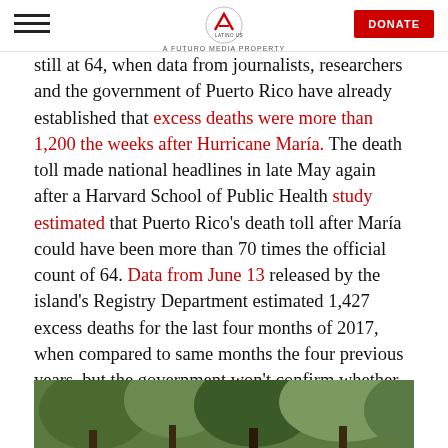A FUTURO MEDIA PROPERTY
still at 64, when data from journalists, researchers and the government of Puerto Rico have already established that excess deaths were more than 1,200 the weeks after Hurricane María. The death toll made national headlines in late May again after a Harvard School of Public Health study estimated that Puerto Rico's death toll after María could have been more than 70 times the official count of 64. Data from June 13 released by the island's Registry Department estimated 1,427 excess deaths for the last four months of 2017, when compared to same months the four previous years, but the government won't confirm whether these excess deaths were all related to the hurricane, and has kept the official death count of 64.
[Figure (photo): Photo of trees/foliage at the bottom of the page]